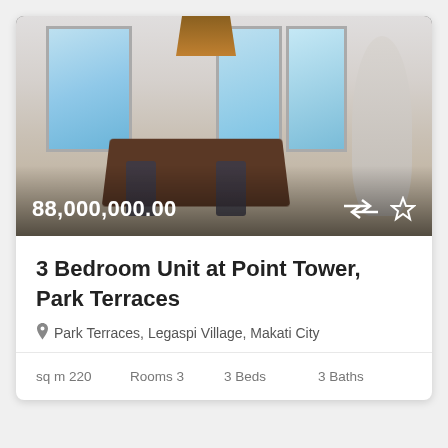[Figure (photo): Interior photo of a modern 3-bedroom condominium unit showing a dining area with a dark wooden table, chairs, pendant light, large windows with natural light, artwork on walls, and decorative sculpture. Price overlay shows 88,000,000.00 with compare and favorite icons.]
3 Bedroom Unit at Point Tower, Park Terraces
Park Terraces, Legaspi Village, Makati City
sq m 220   Rooms 3   3 Beds   3 Baths